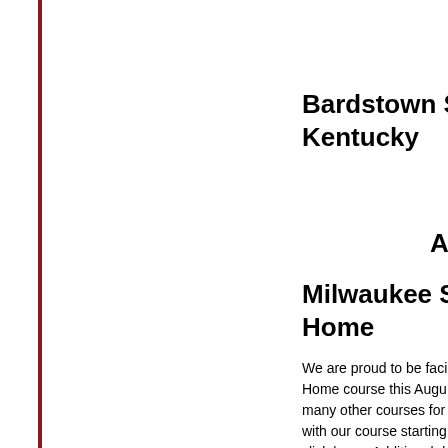Bardstown School Kentucky
A
Milwaukee School Home
We are proud to be faci Home course this Augu many other courses for with our course starting click here.  Additional d be posted this later this